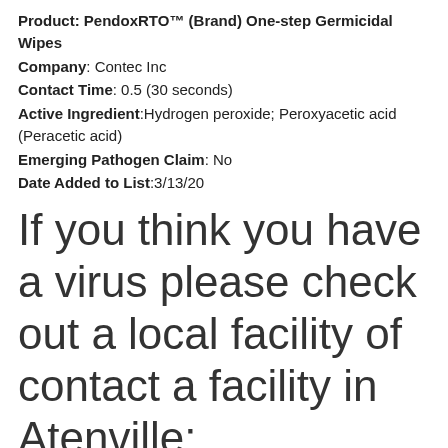Product: PendoxRTO™ (Brand) One-step Germicidal Wipes
Company: Contec Inc
Contact Time: 0.5 (30 seconds)
Active Ingredient: Hydrogen peroxide; Peroxyacetic acid (Peracetic acid)
Emerging Pathogen Claim: No
Date Added to List: 3/13/20
If you think you have a virus please check out a local facility of contact a facility in Atenville: